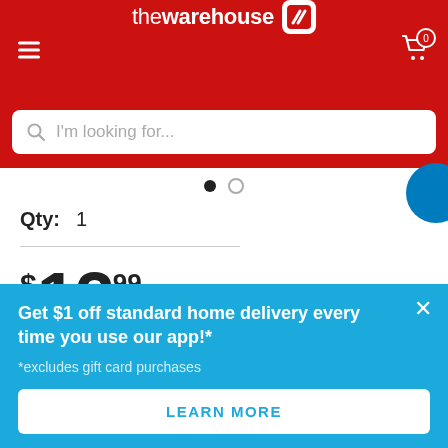[Figure (screenshot): The Warehouse retail website header with red background, hamburger menu icon on the left, 'the warehouse' logo in center with white badge containing double-slash mark, shopping cart icon with badge showing 0 on the right]
[Figure (screenshot): Search bar with placeholder text 'I'm looking for...' and magnifying glass icon on red background]
Qty: 1
$12.99
Get $1 off standard home delivery every time you use our app!*
*excludes gift card purchases
LEARN MORE